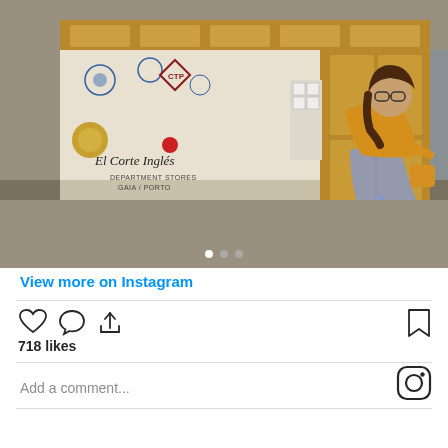[Figure (photo): Woman in yellow jacket and floral dress stepping onto a vintage tram decorated with azulejo tiles. The tram has 'El Corte Ingles - Department Stores Gaia / Porto' written on it.]
View more on Instagram
[Figure (infographic): Instagram post interaction icons: heart (like), comment bubble, share arrow, and bookmark icon. Shows 718 likes and a comment input field with Instagram logo.]
718 likes
Add a comment...